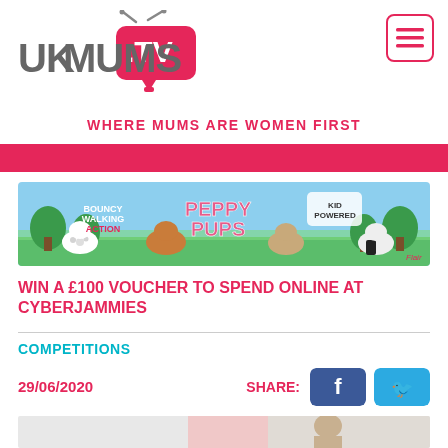[Figure (logo): UKMums.TV logo — UKMUMS in grey bold letters with a pink TV-shaped bubble containing .TV in white, with antennae on top]
[Figure (other): Hamburger menu icon — three pink horizontal lines inside a pink-bordered rounded rectangle]
WHERE MUMS ARE WOMEN FIRST
[Figure (photo): Peppy Pups advertisement banner showing animated walking toy dogs on a green outdoor background with text: BOUNCY WALKING ACTION, PEPPY PUPS, KID POWERED, Flair logo]
WIN A £100 VOUCHER TO SPEND ONLINE AT CYBERJAMMIES
COMPETITIONS
29/06/2020
[Figure (other): SHARE label with Facebook (blue) and Twitter (light blue) share buttons]
[Figure (photo): Partial bottom photo showing a person or product image, partially cropped]